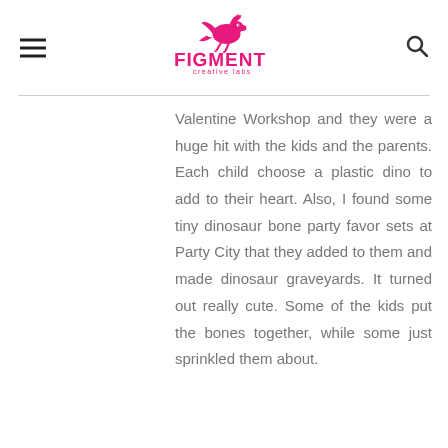Figment Creative Labs
Valentine Workshop and they were a huge hit with the kids and the parents. Each child choose a plastic dino to add to their heart. Also, I found some tiny dinosaur bone party favor sets at Party City that they added to them and made dinosaur graveyards. It turned out really cute. Some of the kids put the bones together, while some just sprinkled them about.